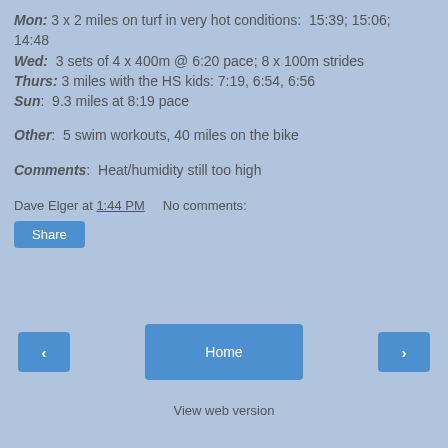Mon: 3 x 2 miles on turf in very hot conditions: 15:39; 15:06; 14:48
Wed: 3 sets of 4 x 400m @ 6:20 pace; 8 x 100m strides
Thurs: 3 miles with the HS kids: 7:19, 6:54, 6:56
Sun: 9.3 miles at 8:19 pace
Other: 5 swim workouts, 40 miles on the bike
Comments: Heat/humidity still too high
Dave Elger at 1:44 PM    No comments:
Share
< Home > View web version